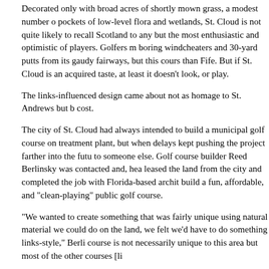Decorated only with broad acres of shortly mown grass, a modest number of pockets of low-level flora and wetlands, St. Cloud is not quite likely to recall Scotland to any but the most enthusiastic and optimistic of players. Golfers may miss boring windcheaters and 30-yard putts from its gaudy fairways, but this course is than Fife. But if St. Cloud is an acquired taste, at least it doesn't look, or play.
The links-influenced design came about not as homage to St. Andrews but because of cost.
The city of St. Cloud had always intended to build a municipal golf course on a treatment plant, but when delays kept pushing the project farther into the future, to someone else. Golf course builder Reed Berlinsky was contacted and, he leased the land from the city and completed the job with Florida-based archi build a fun, affordable, and "clean-playing" public golf course.
"We wanted to create something that was fairly unique using natural material we could do on the land, we felt we'd have to do something links-style," Berli course is not necessarily unique to this area but most of the other courses [li
As owner of a golf course construction firm that has built such notable course Mystic Dunes in Florida, and Bobby Weed's The Old Farm Golf Club in Virg Private course for 2001 - Berlinsky understands high-end golf courses. Buildi novel experience.
To accommodate the proletariat ideals of the course, Berlinsky and Powell re would best serve the site and budget. They incorporated as many of the natu irrigating the course 100 percent using the on-site effluent water.